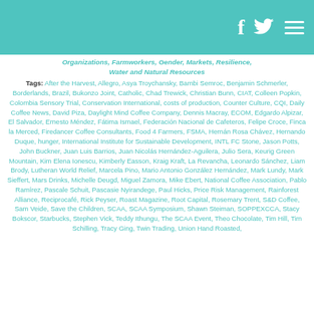Header bar with Facebook, Twitter, and menu icons
Organizations, Farmworkers, Gender, Markets, Resilience, Water and Natural Resources
Tags: After the Harvest, Allegro, Asya Troychansky, Bambi Semroc, Benjamin Schmerler, Borderlands, Brazil, Bukonzo Joint, Catholic, Chad Trewick, Christian Bunn, CIAT, Colleen Popkin, Colombia Sensory Trial, Conservation International, costs of production, Counter Culture, CQI, Daily Coffee News, David Piza, Daylight Mind Coffee Company, Dennis Macray, ECOM, Edgardo Alpizar, El Salvador, Ernesto Méndez, Fátima Ismael, Federación Nacional de Cafeteros, Felipe Croce, Finca la Merced, Firedancer Coffee Consultants, Food 4 Farmers, FSMA, Hernán Rosa Chávez, Hernando Duque, hunger, International Institute for Sustainable Development, INTL FC Stone, Jason Potts, John Buckner, Juan Luis Barrios, Juan Nicolás Hernández-Aguilera, Julio Sera, Keurig Green Mountain, Kim Elena Ionescu, Kimberly Easson, Kraig Kraft, La Revancha, Leonardo Sánchez, Liam Brody, Lutheran World Relief, Marcela Pino, Mario Antonio González Hernández, Mark Lundy, Mark Sieffert, Mars Drinks, Michelle Deugd, Miguel Zamora, Mike Ebert, National Coffee Association, Pablo Ramírez, Pascale Schuit, Pascasie Nyirandege, Paul Hicks, Price Risk Management, Rainforest Alliance, Reciprocafé, Rick Peyser, Roast Magazine, Root Capital, Rosemary Trent, S&D Coffee, Sam Veide, Save the Children, SCAA, SCAA Symposium, Shawn Steiman, SOPPEXCCA, Stacy Bokscor, Starbucks, Stephen Vick, Teddy Ithungu, The SCAA Event, Theo Chocolate, Tim Hill, Tim Schilling, Tracy Ging, Twin Trading, Union Hand Roasted